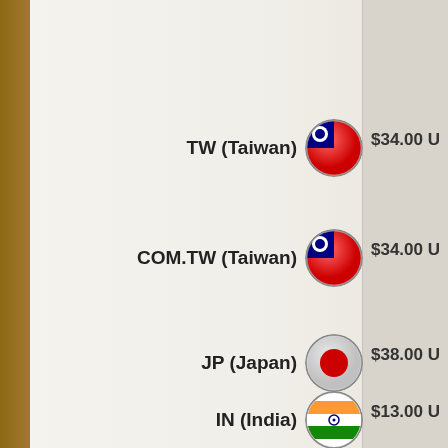TW (Taiwan) $34.00 U
COM.TW (Taiwan) $34.00 U
JP (Japan) $38.00 U
IN (India) $13.00 U
CO.ZA (South Zealand) $15.00 U